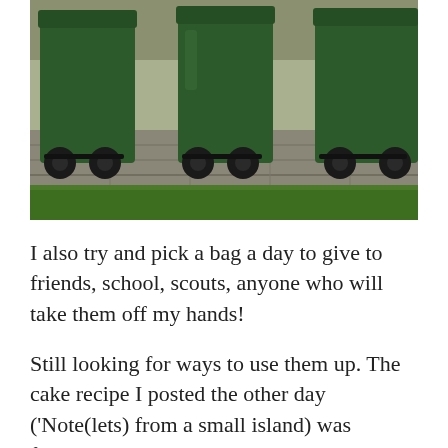[Figure (photo): Three large green wheelie bins (recycling/waste bins) on a cobblestone/paved surface with grass visible in the foreground. The bins have black wheels and lids.]
I also try and pick a bag a day to give to friends, school, scouts, anyone who will take them off my hands!
Still looking for ways to use them up. The cake recipe I posted the other day ('Note(lets) from a small island) was fantastic, so I'll be baking